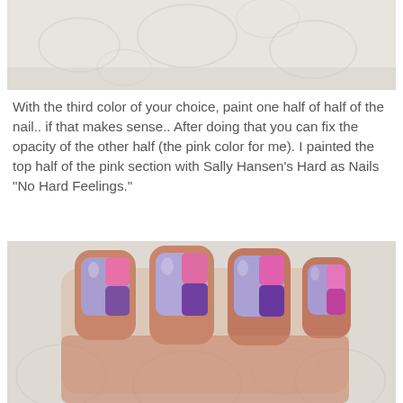[Figure (photo): Top portion of a nail art tutorial photo showing a hand with painted nails on a decorative background, cropped at top of page]
With the third color of your choice, paint one half of half of the nail.. if that makes sense.. After doing that you can fix the opacity of the other half (the pink color for me). I painted the top half of the pink section with Sally Hansen’s Hard as Nails “No Hard Feelings.”
[Figure (photo): Photo of a hand showing four fingers with multicolored nail art featuring purple, light periwinkle/lavender, and pink sections on each nail, displayed against a decorative patterned background]